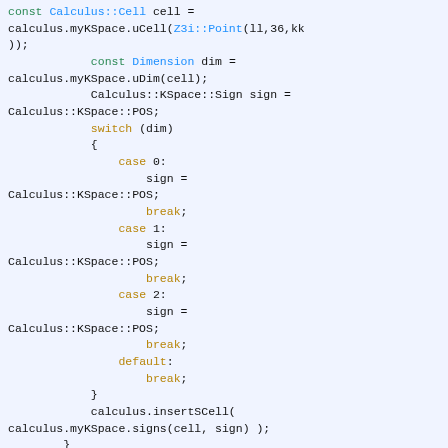[Figure (screenshot): C++ source code snippet showing Calculus KSpace cell iteration with switch statement handling cases 0, 1, 2 and default, followed by insertSCell and a 'left' block.]